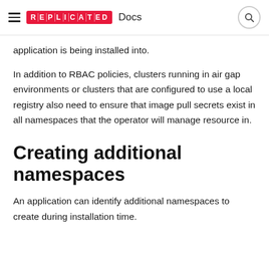REPLICATED Docs
application is being installed into.
In addition to RBAC policies, clusters running in air gap environments or clusters that are configured to use a local registry also need to ensure that image pull secrets exist in all namespaces that the operator will manage resource in.
Creating additional namespaces
An application can identify additional namespaces to create during installation time.